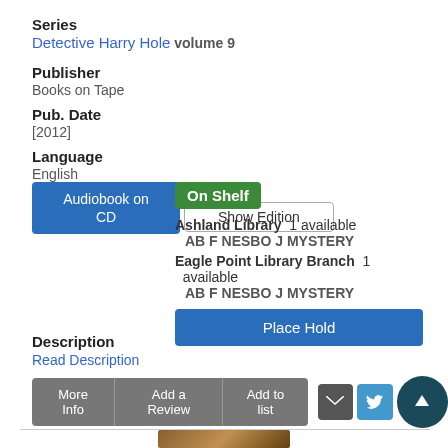Series
Detective Harry Hole volume 9
Publisher
Books on Tape
Pub. Date
[2012]
Language
English
Audiobook on CD
Show Edition
On Shelf
Ashland Library  1 available
AB F NESBO J MYSTERY
Eagle Point Library Branch  1 available
AB F NESBO J MYSTERY
Place Hold
Description
Read Description
More Info
Add a Review
Add to list